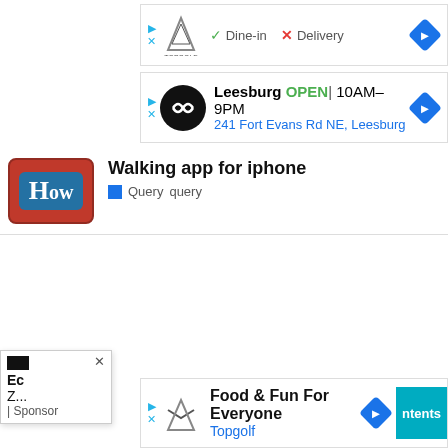[Figure (screenshot): Topgolf ad listing with logo, Dine-in checkmark and Delivery X, with navigation diamond icon]
[Figure (screenshot): Leesburg OPEN 10AM-9PM, 241 Fort Evans Rd NE Leesburg ad listing with circular logo and navigation diamond]
[Figure (screenshot): HowTo logo (red background with blue H box), title: Walking app for iphone, Query query label]
[Figure (screenshot): Popup card with black image, text Ec, Z..., Sponsored, with X close button]
[Figure (screenshot): Bottom ad: Food & Fun For Everyone, Topgolf, with logo and navigation diamond, teal ntents tab on right]